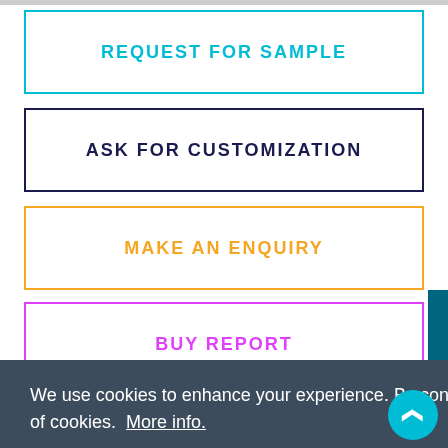REQUEST FOR SAMPLE
ASK FOR CUSTOMIZATION
MAKE AN ENQUIRY
BUY REPORT
We use cookies to enhance your experience. By continuing to use this site you consent to our use of cookies.  More info.
X